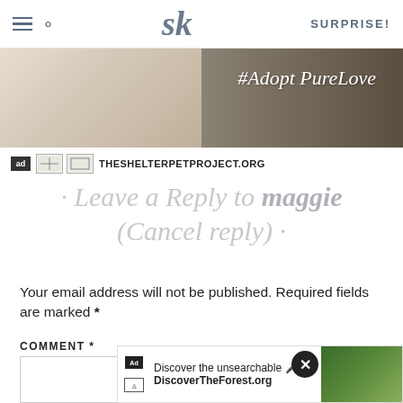SK | SURPRISE!
[Figure (photo): Advertisement banner for The Shelter Pet Project showing a cat with text #Adopt PureLove and logos including ad badge and THESHELTERPETPROJECT.ORG]
· Leave a Reply to maggie (Cancel reply) ·
Your email address will not be published. Required fields are marked *
COMMENT *
[Figure (screenshot): Advertisement overlay for DiscoverTheForest.org with text 'Discover the unsearchable' and DiscoverTheForest.org with forest/people image, close button (X)]